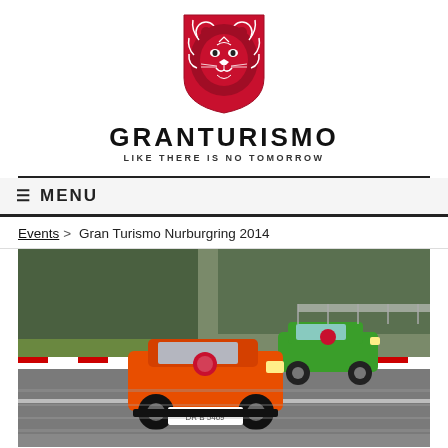[Figure (logo): Red lion head shield logo for Gran Turismo brand]
GRANTURISMO
LIKE THERE IS NO TOMORROW
≡ MENU
Events > Gran Turismo Nurburgring 2014
[Figure (photo): Two Porsche sports cars (orange and green) racing on the Nurburgring circuit track, with trees and barriers visible in the background. The orange car has license plate DR B 5469.]